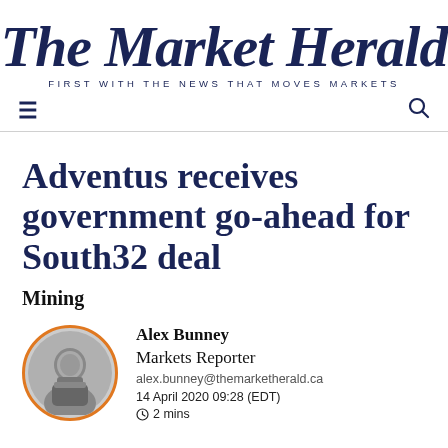The Market Herald
FIRST WITH THE NEWS THAT MOVES MARKETS
Adventus receives government go-ahead for South32 deal
Mining
Alex Bunney
Markets Reporter
alex.bunney@themarketherald.ca
14 April 2020 09:28 (EDT)
2 mins